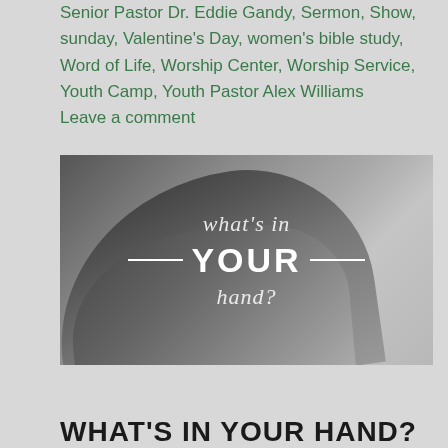Senior Pastor Dr. Eddie Gandy, Sermon, Show, sunday, Valentine's Day, women's bible study, Word of Life, Worship Center, Worship Service, Youth Camp, Youth Pastor Alex Williams      Leave a comment
[Figure (photo): Black and white photo of an open hand (palm up) with overlaid white text: 'what's in YOUR hand?' — 'what's in' in italic script, 'YOUR' in large bold uppercase with horizontal lines on each side, 'hand?' in italic script below.]
WHAT'S IN YOUR HAND?